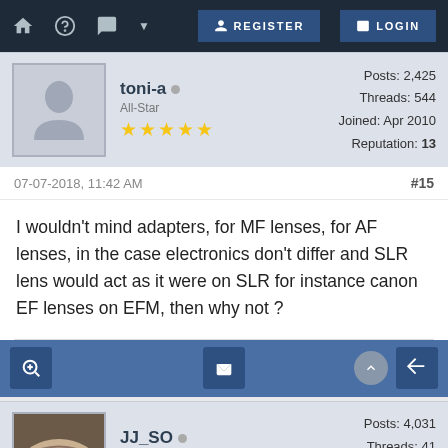REGISTER  LOGIN
toni-a  All-Star  Posts: 2,425  Threads: 544  Joined: Apr 2010  Reputation: 13
07-07-2018, 11:42 AM  #15
I wouldn't mind adapters, for MF lenses, for AF lenses, in the case electronics don't differ and SLR lens would act as it were on SLR for instance canon EF lenses on EFM, then why not ?
JJ_SO  All-Star  Posts: 4,031  Threads: 41  Joined: Feb 2013  Reputation: 22